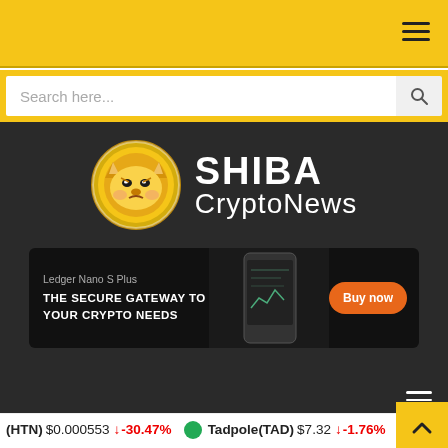Shiba CryptoNews - navigation bar with hamburger menu
Search here...
[Figure (logo): Shiba CryptoNews logo — gold coin with Shiba Inu face on dark background, bold white text 'SHIBA CryptoNews']
[Figure (infographic): Ledger Nano S Plus advertisement — 'THE SECURE GATEWAY TO YOUR CRYPTO NEEDS' with Buy now orange button]
Navigation hamburger menu on dark bar
HOME > BINANCE > Parody Coin (PARO), Axie Infinity (AXS), and Cronos (CRO) — The Next Binance Coin (BNB)?
(HTN) $0.000553 ↓ -30.47%   Tadpole(TAD) $7.32 ↓ -1.76%